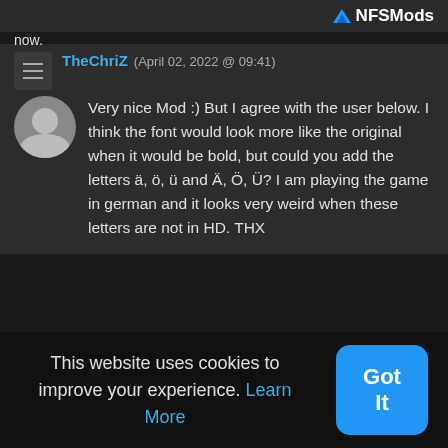NFSMods
now.
TheChriZ (April 02, 2022 @ 09:41)
Very nice Mod :) But I agree with the user below. I think the font would look more like the original when it would be bold, but could you add the letters ä, ö, ü and Ä, Ö, Ü? I am playing the game in german and it looks very weird when these letters are not in HD. THX
Previous  1  2  3  4  Next
This website uses cookies to improve your experience. Learn More
Got It